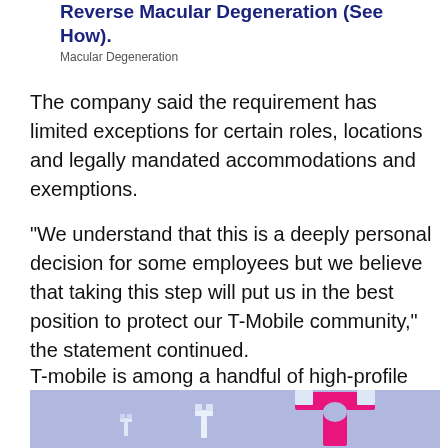Reverse Macular Degeneration (See How).
Macular Degeneration
The company said the requirement has limited exceptions for certain roles, locations and legally mandated accommodations and exemptions.
"We understand that this is a deeply personal decision for some employees but we believe that taking this step will put us in the best position to protect our T-Mobile community," the statement continued.
T-mobile is among a handful of high-profile corporations keeping the vaccine mandate.
[Figure (photo): T-Mobile logo signs in pink/magenta on a light blue/purple background, shown in a row getting progressively larger]